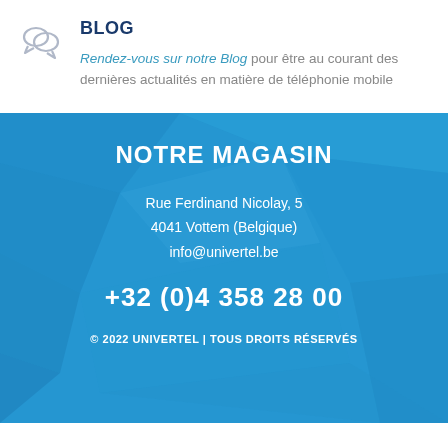BLOG
Rendez-vous sur notre Blog pour être au courant des dernières actualités en matière de téléphonie mobile
NOTRE MAGASIN
Rue Ferdinand Nicolay, 5
4041 Vottem (Belgique)
info@univertel.be
+32 (0)4 358 28 00
© 2022 UNIVERTEL | TOUS DROITS RÉSERVÉS